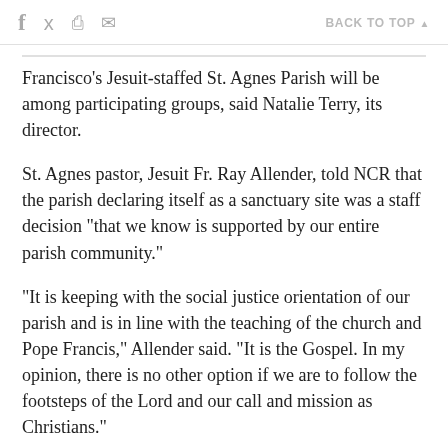f  [twitter]  [print]  [email]   BACK TO TOP ▲
Francisco's Jesuit-staffed St. Agnes Parish will be among participating groups, said Natalie Terry, its director.
St. Agnes pastor, Jesuit Fr. Ray Allender, told NCR that the parish declaring itself as a sanctuary site was a staff decision "that we know is supported by our entire parish community."
"It is keeping with the social justice orientation of our parish and is in line with the teaching of the church and Pope Francis," Allender said. "It is the Gospel. In my opinion, there is no other option if we are to follow the footsteps of the Lord and our call and mission as Christians."
A member of the San Francisco priests' council, Allender said San Francisco Archbishop Salvatore Cordileone has spoken in support of efforts to